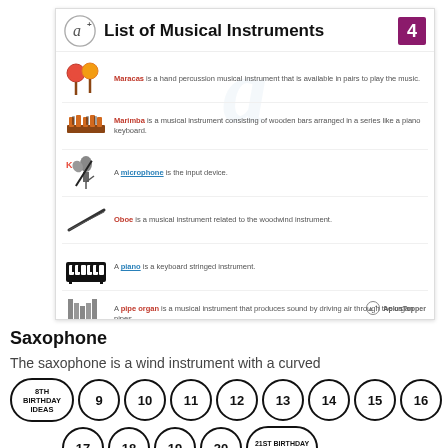List of Musical Instruments
Maracas is a hand percussion musical instrument that is available in pairs to play the music.
Marimba is a musical instrument consisting of wooden bars arranged in a series like a piano keyboard.
A microphone is the input device.
Oboe is a musical instrument related to the woodwind instrument.
A piano is a keyboard stringed instrument.
A pipe organ is a musical instrument that produces sound by driving air through the organ pipes.
Saxophone
The saxophone is a wind instrument with a curved
8TH BIRTHDAY IDEAS  9  10  11  12  13  14  15  16  17  18  19  20  21ST BIRTHDAY IDEAS